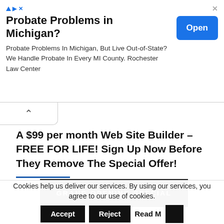[Figure (screenshot): Advertisement banner for Rochester Law Center: Probate Problems in Michigan? with Open button]
A $99 per month Web Site Builder – FREE FOR LIFE! Sign Up Now Before They Remove The Special Offer!
[Figure (infographic): Grand Opening Special promotional image with pink logo and 'ENHANCE YOUR BUSINESS' text]
Cookies help us deliver our services. By using our services, you agree to our use of cookies. Accept Reject Read More